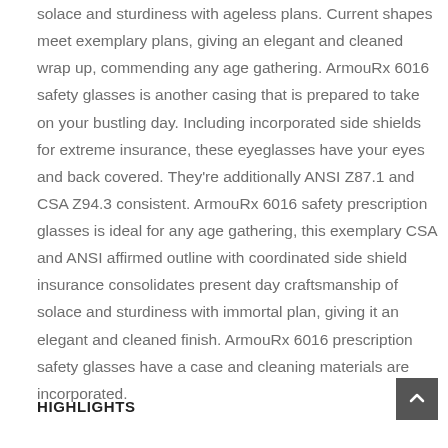solace and sturdiness with ageless plans. Current shapes meet exemplary plans, giving an elegant and cleaned wrap up, commending any age gathering. ArmouRx 6016 safety glasses is another casing that is prepared to take on your bustling day. Including incorporated side shields for extreme insurance, these eyeglasses have your eyes and back covered. They're additionally ANSI Z87.1 and CSA Z94.3 consistent. ArmouRx 6016 safety prescription glasses is ideal for any age gathering, this exemplary CSA and ANSI affirmed outline with coordinated side shield insurance consolidates present day craftsmanship of solace and sturdiness with immortal plan, giving it an elegant and cleaned finish. ArmouRx 6016 prescription safety glasses have a case and cleaning materials are incorporated.
HIGHLIGHTS